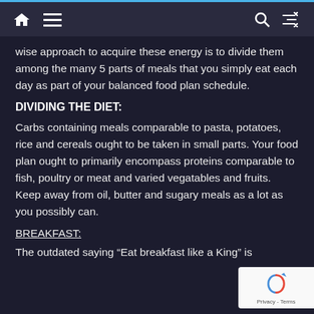Home Menu Search Shuffle
wise approach to acquire these energy is to divide them among the many 5 parts of meals that you simply eat each day as part of your balanced food plan schedule.
DIVIDING THE DIET:
Carbs containing meals comparable to pasta, potatoes, rice and cereals ought to be taken in small parts. Your food plan ought to primarily encompass proteins comparable to fish, poultry or meat and varied vegatables and fruits. Keep away from oil, butter and sugary meals as a lot as you possibly can.
BREAKFAST:
The outdated saying “Eat breakfast like a King” is